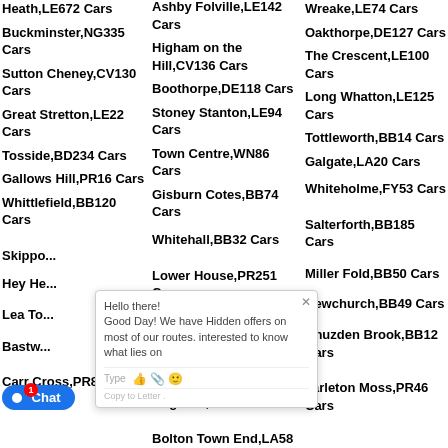Heath,LE672 Cars
Ashby Folville,LE142 Cars
Wreake,LE74 Cars
Buckminster,NG335 Cars
Higham on the Hill,CV136 Cars
Oakthorpe,DE127 Cars
Sutton Cheney,CV130 Cars
Boothorpe,DE118 Cars
The Crescent,LE100 Cars
Great Stretton,LE22 Cars
Stoney Stanton,LE94 Cars
Long Whatton,LE125 Cars
Tosside,BD234 Cars
Town Centre,WN86 Cars
Tottleworth,BB14 Cars
Gallows Hill,PR16 Cars
Gisburn Cotes,BB74 Cars
Galgate,LA20 Cars
Whittlefield,BB120 Cars
Whitehall,BB32 Cars
Whiteholme,FY53 Cars
Skippo...
Lower House,PR251 Cars
Salterforth,BB185 Cars
Hey He...
Over Town,BB104 Cars
Miller Fold,BB50 Cars
Lea To...
Walton-le-Dale,PR54 Cars
Newchurch,BB49 Cars
Bastw...
Aughton,L396 Cars
Knuzden Brook,BB12 Cars
Carr Cross,PR85 Cars
Bolton Town End,LA58 Cars
Tarleton Moss,PR46 Cars